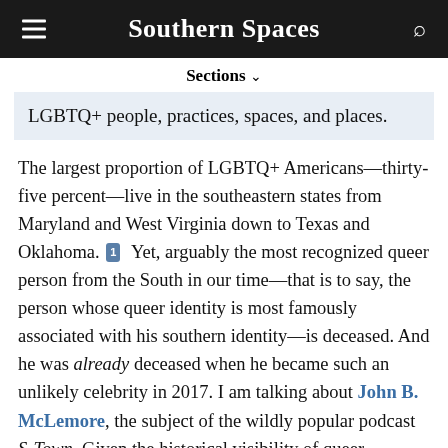Southern Spaces
Sections ∨
LGBTQ+ people, practices, spaces, and places.
The largest proportion of LGBTQ+ Americans—thirty-five percent—live in the southeastern states from Maryland and West Virginia down to Texas and Oklahoma.[1] Yet, arguably the most recognized queer person from the South in our time—that is to say, the person whose queer identity is most famously associated with his southern identity—is deceased. And he was already deceased when he became such an unlikely celebrity in 2017. I am talking about John B. McLemore, the subject of the wildly popular podcast S-Town. Given the historical visibility of queer communities and activism in New York, Chicago, and California, it is somewhat understandable that the national imaginary continues to picture LGBTQ+